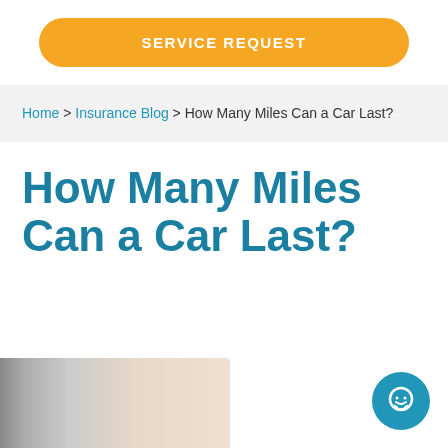SERVICE REQUEST
Home > Insurance Blog > How Many Miles Can a Car Last?
How Many Miles Can a Car Last?
[Figure (photo): Blurred car dashboard or road image, bokeh lighting effect]
[Figure (other): Blue circular chat/support button icon with smiley face]